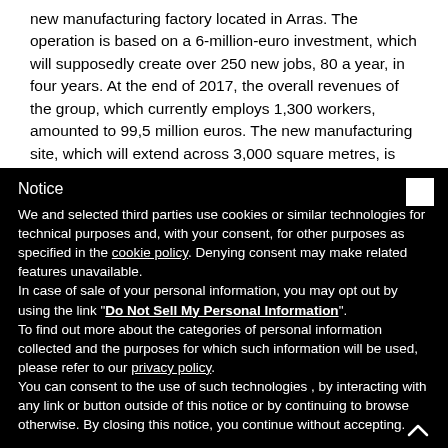new manufacturing factory located in Arras. The operation is based on a 6-million-euro investment, which will supposedly create over 250 new jobs, 80 a year, in four years. At the end of 2017, the overall revenues of the group, which currently employs 1,300 workers, amounted to 99,5 million euros. The new manufacturing site, which will extend across 3,000 square metres, is going to be placed in the Actiparc area, which has been already hosting 31
Notice
We and selected third parties use cookies or similar technologies for technical purposes and, with your consent, for other purposes as specified in the cookie policy. Denying consent may make related features unavailable.
In case of sale of your personal information, you may opt out by using the link "Do Not Sell My Personal Information".
To find out more about the categories of personal information collected and the purposes for which such information will be used, please refer to our privacy policy.
You can consent to the use of such technologies , by interacting with any link or button outside of this notice or by continuing to browse otherwise. By closing this notice, you continue without accepting.